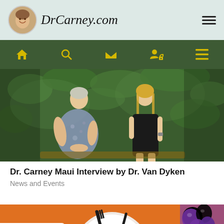DrCarney.com
[Figure (photo): Two women sitting outdoors in front of green foliage, having a conversation]
Dr. Carney Maui Interview by Dr. Van Dyken
News and Events
[Figure (photo): A white plate with colorful vegetable pieces arranged around it like clock hands, with a fork, on an orange background with fruits visible on the right]